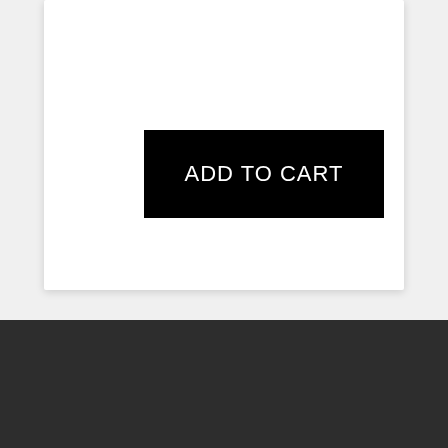[Figure (screenshot): White card with black ADD TO CART button]
[Figure (screenshot): Partial second white card with plus icon in teal]
We use cookies to understand how you use our site and to improve your experience. This includes personalizing content and advertising. To learn more, click here. By continuing to use our site, you accept our use of cookies, revised Privacy Policy and Terms and Conditions. Learn information.